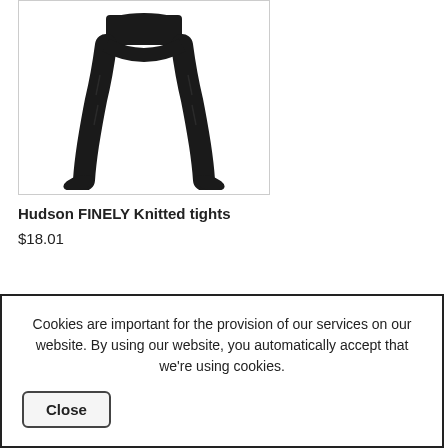[Figure (photo): Black knitted tights on a mannequin/model legs, shown from waist down, against a white background inside a product card box with light gray border.]
Hudson FINELY Knitted tights
$18.01
Cookies are important for the provision of our services on our website. By using our website, you automatically accept that we're using cookies.
Close